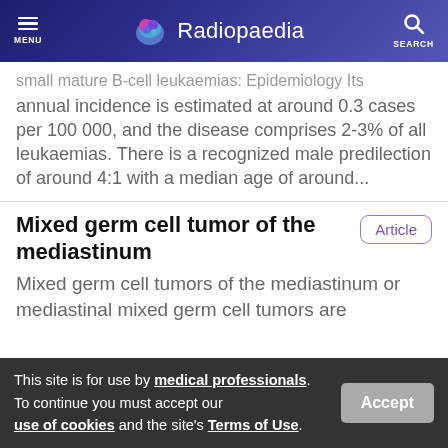Radiopaedia — MENU / SEARCH header
small mature B-cell leukaemias: Epidemiology Its annual incidence is estimated at around 0.3 cases per 100 000, and the disease comprises 2-3% of all leukaemias. There is a recognized male predilection of around 4:1 with a median age of around...
Mixed germ cell tumor of the mediastinum
Mixed germ cell tumors of the mediastinum or mediastinal mixed germ cell tumors are
This site is for use by medical professionals. To continue you must accept our use of cookies and the site's Terms of Use.